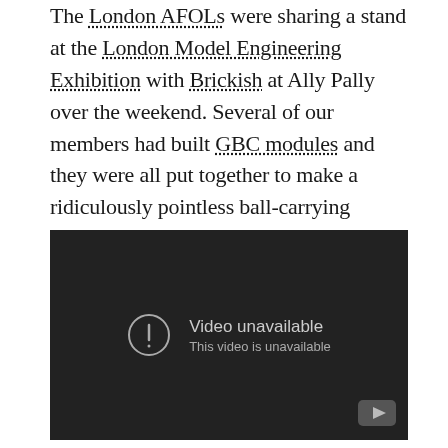The London AFOLs were sharing a stand at the London Model Engineering Exhibition with Brickish at Ally Pally over the weekend. Several of our members had built GBC modules and they were all put together to make a ridiculously pointless ball-carrying contraption, including two of mine. The punters loved it! Here's a video of the circuit:
[Figure (screenshot): Embedded video player showing 'Video unavailable – This video is unavailable' message on a dark background with a YouTube logo icon in the bottom right corner.]